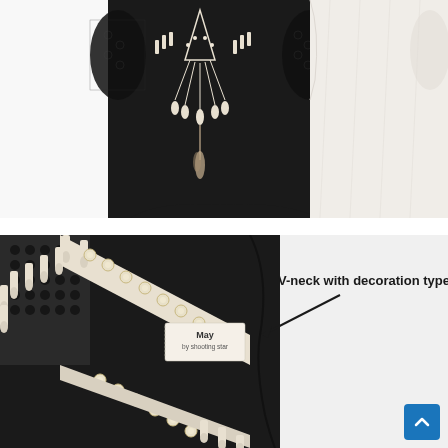[Figure (photo): Two garments displayed side by side: a black short-sleeve top with white tassel and dreamcatcher-style decoration at the neckline and lace sleeves, and a white/cream loose short-sleeve top, against a white background.]
[Figure (photo): Close-up detail of the black garment's V-neckline showing white tassel trim, pearl/gold button embellishments, lace detailing, and a clothing label reading 'May by shooting star'. An annotation arrow points to the neckline with text 'V-neck with decoration type'.]
V-neck with decoration type